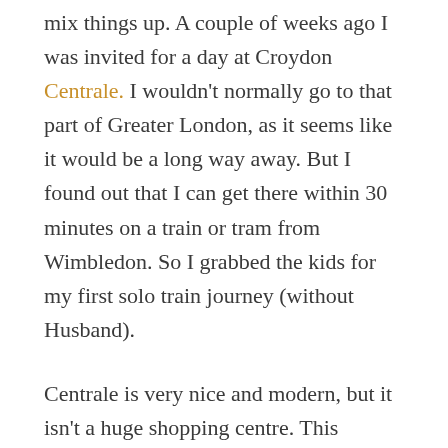mix things up. A couple of weeks ago I was invited for a day at Croydon Centrale. I wouldn't normally go to that part of Greater London, as it seems like it would be a long way away. But I found out that I can get there within 30 minutes on a train or tram from Wimbledon. So I grabbed the kids for my first solo train journey (without Husband).
Centrale is very nice and modern, but it isn't a huge shopping centre. This actually makes shopping easier when you have young children (you won't have a 10-minute walk to the toilets). Centrale does have my two favourite shops – H&M and Zara. And it has my daughter's favourite shop – Build A Bear. Dubz was not keen when I told him he would get to make a bear. Then he saw that they had a dinosaur. Oh he was…